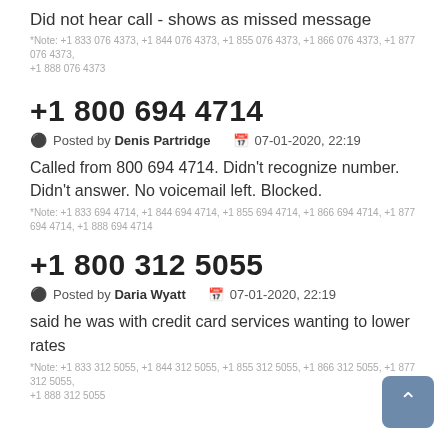Did not hear call - shows as missed message
*Note: +1 833 076 4373, +1 844 076 4373, +1 855 076 4373, +1 866 076 4373, +1 877 076 4373, +1 888 076 4373
+1 800 694 4714
Posted by Denis Partridge   07-01-2020, 22:19
Called from 800 694 4714. Didn't recognize number. Didn't answer. No voicemail left. Blocked.
*Note: +1 833 694 4714, +1 844 694 4714, +1 855 694 4714, +1 866 694 4714, +1 877 694 4714, +1 888 694 4714
+1 800 312 5055
Posted by Daria Wyatt   07-01-2020, 22:19
said he was with credit card services wanting to lower rates
*Note: +1 833 312 5055, +1 844 312 5055, +1 855 312 5055, +1 866 312 5055, +1 877 312 5055, +1 888 312 5055